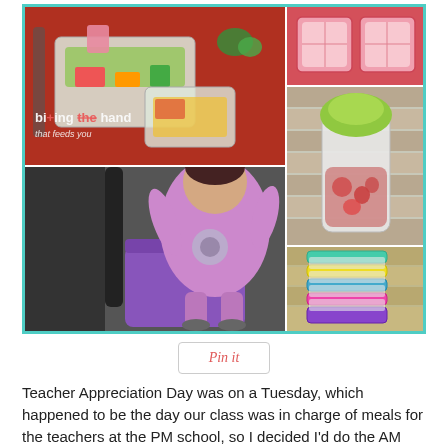[Figure (photo): Photo collage of food prep containers and a young child with a lunch bag. Top left: plastic containers with food on a red surface with a 'biting the hand that feeds you' watermark. Top right: pink food containers. Middle right: a green-lidded cup/bottle. Bottom right: stacked colorful small food containers. Bottom left: a small girl in purple shirt wearing a backpack standing next to a purple lunch bag.]
[Figure (other): Pinterest 'Pin it' button]
Teacher Appreciation Day was on a Tuesday, which happened to be the day our class was in charge of meals for the teachers at the PM school, so I decided I'd do the AM